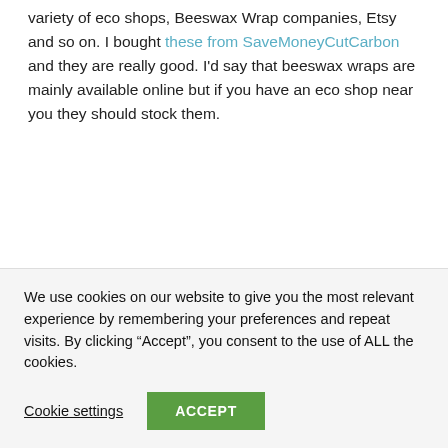variety of eco shops, Beeswax Wrap companies, Etsy and so on. I bought these from SaveMoneyCutCarbon and they are really good. I'd say that beeswax wraps are mainly available online but if you have an eco shop near you they should stock them.
We use cookies on our website to give you the most relevant experience by remembering your preferences and repeat visits. By clicking “Accept”, you consent to the use of ALL the cookies.
Cookie settings
ACCEPT